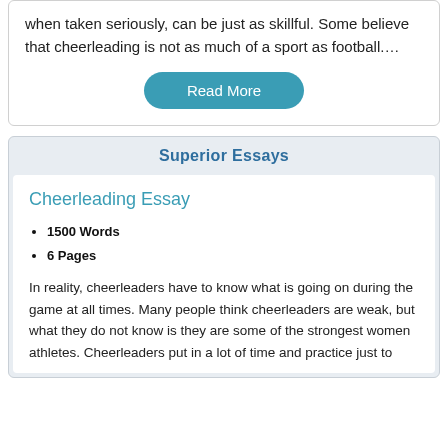when taken seriously, can be just as skillful. Some believe that cheerleading is not as much of a sport as football….
Read More
Superior Essays
Cheerleading Essay
1500 Words
6 Pages
In reality, cheerleaders have to know what is going on during the game at all times. Many people think cheerleaders are weak, but what they do not know is they are some of the strongest women athletes. Cheerleaders put in a lot of time and practice just to